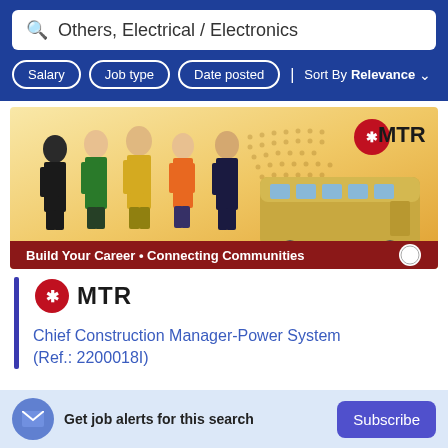Others, Electrical / Electronics
Salary
Job type
Date posted
Sort By Relevance
[Figure (photo): MTR recruitment banner showing five employees in different uniforms (formal black, green uniform, yellow uniform, orange uniform, black suit) with a world map background and an MTR train on the right. Bottom strip reads 'Build Your Career • Connecting Communities']
[Figure (logo): MTR logo - circular red emblem with asterisk-like symbol and MTR text in bold]
Chief Construction Manager-Power System (Ref.: 2200018I)
Get job alerts for this search
Subscribe